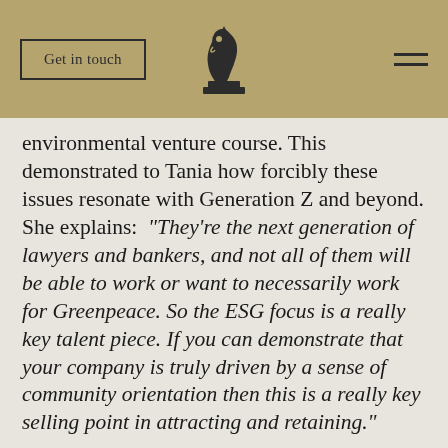Get in touch | [chess knight logo] | [hamburger menu]
environmental venture course. This demonstrated to Tania how forcibly these issues resonate with Generation Z and beyond. She explains: “They’re the next generation of lawyers and bankers, and not all of them will be able to work or want to necessarily work for Greenpeace. So the ESG focus is a really key talent piece. If you can demonstrate that your company is truly driven by a sense of community orientation then this is a really key selling point in attracting and retaining.”
The resonance of Greta Thunberg’s message and the movement of school